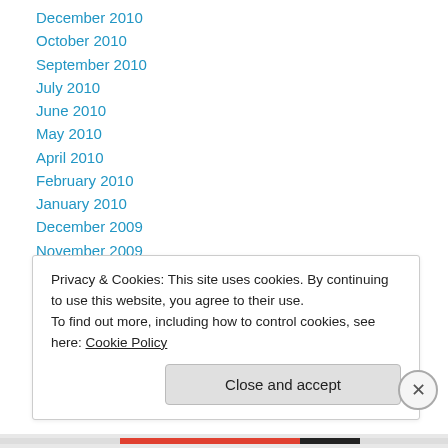December 2010
October 2010
September 2010
July 2010
June 2010
May 2010
April 2010
February 2010
January 2010
December 2009
November 2009
August 2009
July 2009
Privacy & Cookies: This site uses cookies. By continuing to use this website, you agree to their use.
To find out more, including how to control cookies, see here: Cookie Policy
Close and accept